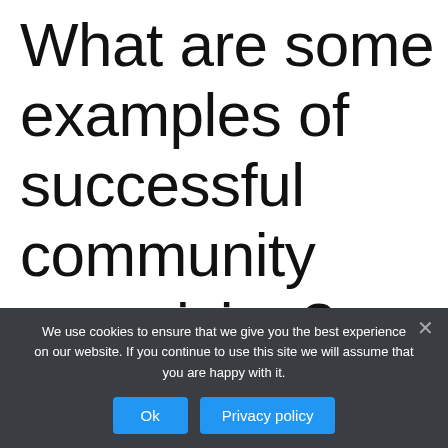What are some examples of successful community organizing?
We use cookies to ensure that we give you the best experience on our website. If you continue to use this site we will assume that you are happy with it.